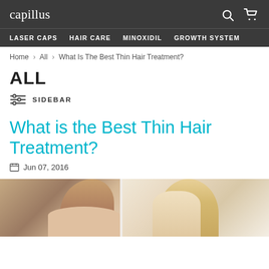capillus
LASER CAPS  HAIR CARE  MINOXIDIL  GROWTH SYSTEM
Home > All > What Is The Best Thin Hair Treatment?
ALL
SIDEBAR
What is the Best Thin Hair Treatment?
Jun 07, 2016
[Figure (photo): Two women - one with dark hair shown from the side, one with blonde hair facing forward]